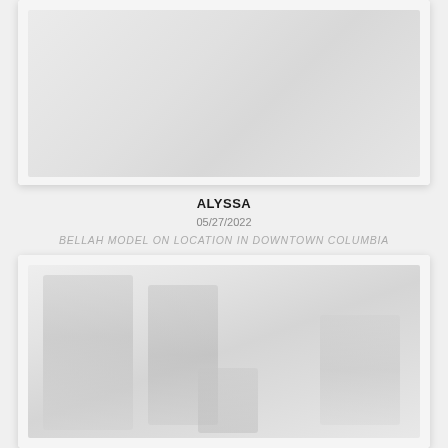[Figure (photo): Top photo card showing a faded/washed-out photograph, likely a model photo shoot, partially visible at top of page]
ALYSSA
05/27/2022
BELLAH MODEL ON LOCATION IN DOWNTOWN COLUMBIA
[Figure (photo): Bottom photo card showing a faded/washed-out photograph of model on location in downtown Columbia, with figures visible in an outdoor street setting]